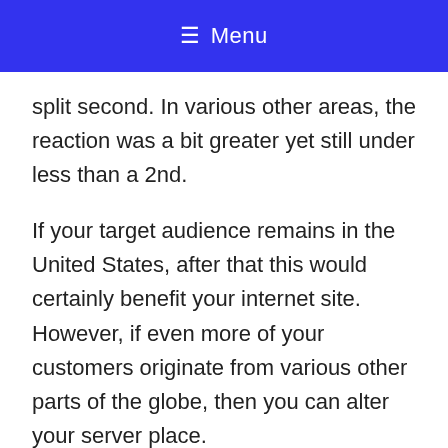≡ Menu
split second. In various other areas, the reaction was a bit greater yet still under less than a 2nd.
If your target audience remains in the United States, after that this would certainly benefit your internet site. However, if even more of your customers originate from various other parts of the globe, then you can alter your server place.